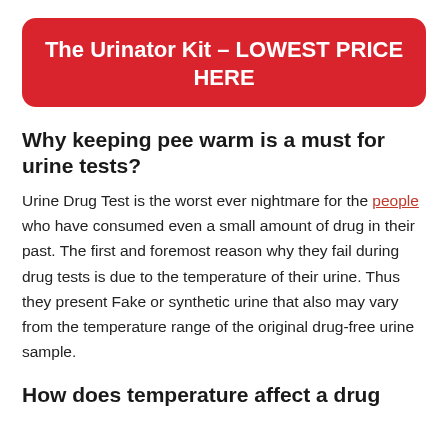The Urinator Kit – LOWEST PRICE HERE
Why keeping pee warm is a must for urine tests?
Urine Drug Test is the worst ever nightmare for the people who have consumed even a small amount of drug in their past. The first and foremost reason why they fail during drug tests is due to the temperature of their urine. Thus they present Fake or synthetic urine that also may vary from the temperature range of the original drug-free urine sample.
How does temperature affect a drug